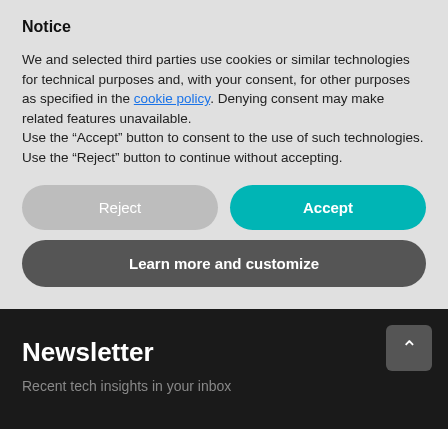Notice
We and selected third parties use cookies or similar technologies for technical purposes and, with your consent, for other purposes as specified in the cookie policy. Denying consent may make related features unavailable.
Use the “Accept” button to consent to the use of such technologies. Use the “Reject” button to continue without accepting.
Reject
Accept
Learn more and customize
Newsletter
Recent tech insights in your inbox